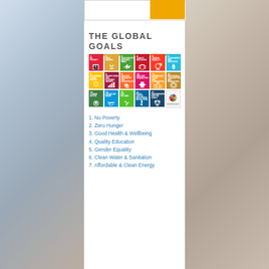THE GLOBAL GOALS
[Figure (illustration): Grid of 17 UN Sustainable Development Goals icons in colored squares arranged in 3 rows]
1. No Poverty
2. Zero Hunger
3. Good Health & Wellbeing
4. Quality Education
5. Gender Equality
6. Clean Water & Sanitation
7. Affordable & Clean Energy